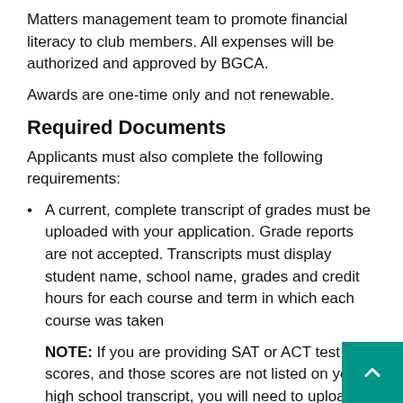Matters management team to promote financial literacy to club members. All expenses will be authorized and approved by BGCA.
Awards are one-time only and not renewable.
Required Documents
Applicants must also complete the following requirements:
A current, complete transcript of grades must be uploaded with your application. Grade reports are not accepted. Transcripts must display student name, school name, grades and credit hours for each course and term in which each course was taken
NOTE: If you are providing SAT or ACT test scores, and those scores are not listed on your high school transcript, you will need to upload an official copy of those test scores separately. If you are uploading a college transcript, those scores are not required.